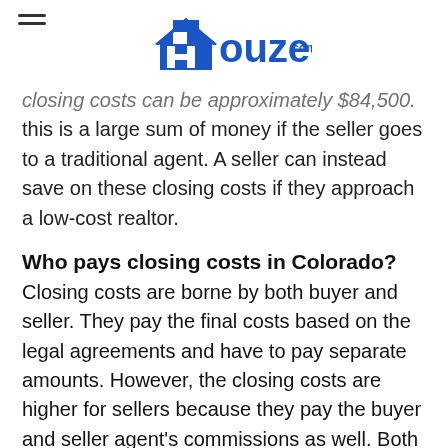Houzeo.com
closing costs can be approximately $84,500. this is a large sum of money if the seller goes to a traditional agent. A seller can instead save on these closing costs if they approach a low-cost realtor.
Who pays closing costs in Colorado? Closing costs are borne by both buyer and seller. They pay the final costs based on the legal agreements and have to pay separate amounts. However, the closing costs are higher for sellers because they pay the buyer and seller agent's commissions as well. Both buyers and sellers must be careful before the final